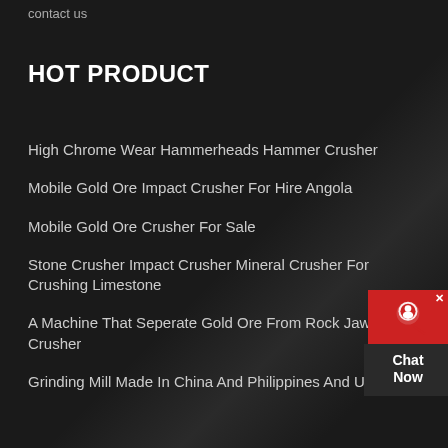contact us
HOT PRODUCT
High Chrome Wear Hammerheads Hammer Crusher
Mobile Gold Ore Impact Crusher For Hire Angola
Mobile Gold Ore Crusher For Sale
Stone Crusher Impact Crusher Mineral Crusher For Crushing Limestone
A Machine That Seperate Gold Ore From Rock Jaw Crusher
Grinding Mill Made In China And Philippines And Usa